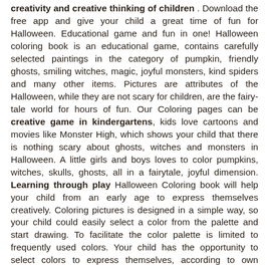creativity and creative thinking of children . Download the free app and give your child a great time of fun for Halloween. Educational game and fun in one! Halloween coloring book is an educational game, contains carefully selected paintings in the category of pumpkin, friendly ghosts, smiling witches, magic, joyful monsters, kind spiders and many other items. Pictures are attributes of the Halloween, while they are not scary for children, are the fairy-tale world for hours of fun. Our Coloring pages can be creative game in kindergartens, kids love cartoons and movies like Monster High, which shows your child that there is nothing scary about ghosts, witches and monsters in Halloween. A little girls and boys loves to color pumpkins, witches, skulls, ghosts, all in a fairytale, joyful dimension. Learning through play Halloween Coloring book will help your child from an early age to express themselves creatively. Coloring pictures is designed in a simple way, so your child could easily select a color from the palette and start drawing. To facilitate the color palette is limited to frequently used colors. Your child has the opportunity to select colors to express themselves, according to own imagination. Coloring book Halloween is focused on ease of use so that your child could immediately focus on drawing shapes and colors, precise outlines drawing, filling colors. Our apps for children have been appreciated by many users. We pass into your hands the most educational tool for the development of your